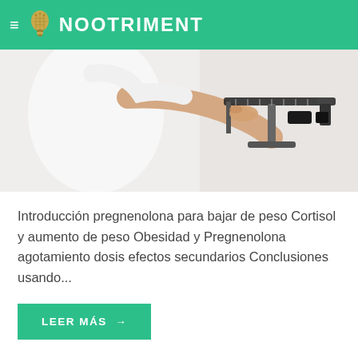NOOTRIMENT
[Figure (photo): Person in white t-shirt adjusting a balance beam scale, viewed from the side against a white background.]
Introducción pregnenolona para bajar de peso Cortisol y aumento de peso Obesidad y Pregnenolona agotamiento dosis efectos secundarios Conclusiones usando...
LEER MÁS →